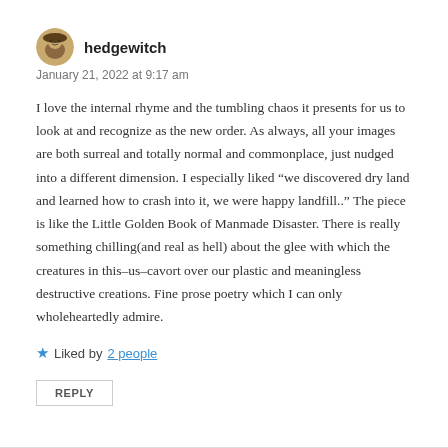[Figure (photo): Round avatar icon showing a hedgewitch character illustration]
hedgewitch
January 21, 2022 at 9:17 am
I love the internal rhyme and the tumbling chaos it presents for us to look at and recognize as the new order. As always, all your images are both surreal and totally normal and commonplace, just nudged into a different dimension. I especially liked “we discovered dry land and learned how to crash into it, we were happy landfill..” The piece is like the Little Golden Book of Manmade Disaster. There is really something chilling(and real as hell) about the glee with which the creatures in this–us–cavort over our plastic and meaningless destructive creations. Fine prose poetry which I can only wholeheartedly admire.
★ Liked by 2 people
REPLY